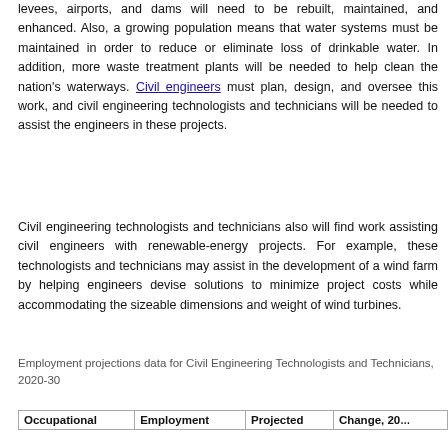levees, airports, and dams will need to be rebuilt, maintained, and enhanced. Also, a growing population means that water systems must be maintained in order to reduce or eliminate loss of drinkable water. In addition, more waste treatment plants will be needed to help clean the nation's waterways. Civil engineers must plan, design, and oversee this work, and civil engineering technologists and technicians will be needed to assist the engineers in these projects.
Civil engineering technologists and technicians also will find work assisting civil engineers with renewable-energy projects. For example, these technologists and technicians may assist in the development of a wind farm by helping engineers devise solutions to minimize project costs while accommodating the sizeable dimensions and weight of wind turbines.
Employment projections data for Civil Engineering Technologists and Technicians, 2020-30
| Occupational | Employment | Projected | Change, 20... |
| --- | --- | --- | --- |